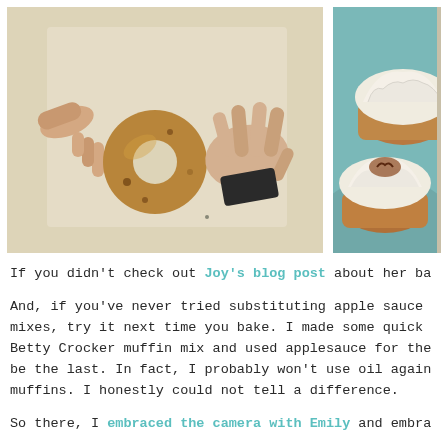[Figure (photo): Two photos side by side. Left: child's hands reaching toward a bagel/donut on a light surface. Right: frosted muffins/cupcakes on a teal plate, partially cropped.]
If you didn't check out Joy's blog post about her ba
And, if you've never tried substituting apple sauce mixes, try it next time you bake. I made some quick Betty Crocker muffin mix and used applesauce for the be the last. In fact, I probably won't use oil again muffins. I honestly could not tell a difference.
So there, I embraced the camera with Emily and embra